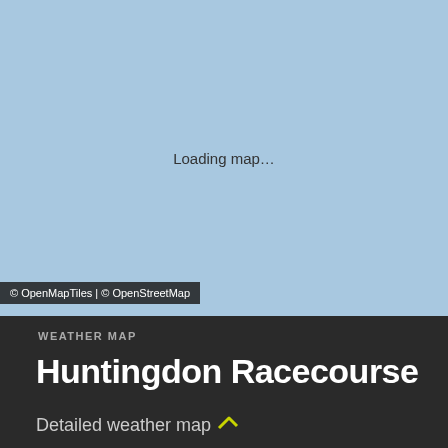[Figure (map): Light blue loading map area showing 'Loading map...' placeholder text for a weather map]
© OpenMapTiles | © OpenStreetMap
WEATHER MAP
Huntingdon Racecourse
Detailed weather map